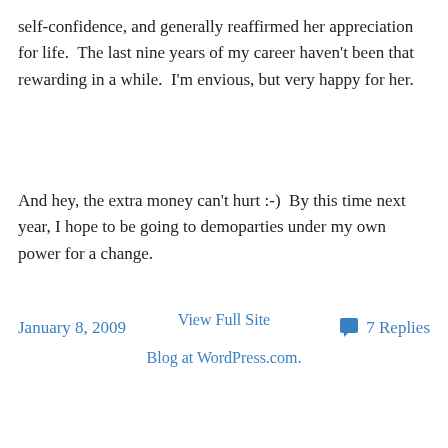self-confidence, and generally reaffirmed her appreciation for life.  The last nine years of my career haven't been that rewarding in a while.  I'm envious, but very happy for her.
And hey, the extra money can't hurt :-)  By this time next year, I hope to be going to demoparties under my own power for a change.
January 8, 2009
7 Replies
View Full Site
Blog at WordPress.com.